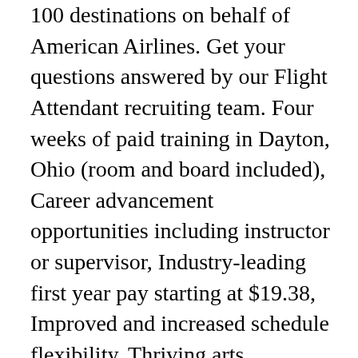100 destinations on behalf of American Airlines. Get your questions answered by our Flight Attendant recruiting team. Four weeks of paid training in Dayton, Ohio (room and board included), Career advancement opportunities including instructor or supervisor, Industry-leading first year pay starting at $19.38, Improved and increased schedule flexibility, Thriving arts community and diverse culture, Metro parks offering, biking, kayaking and camping, Museums rich in history and political significance, City rich in history and political significance, Comprehensive benefits including medical, dental, vision and 401(k), Travel privileges for you, your family and friends on